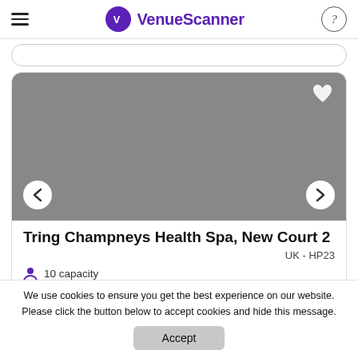[Figure (logo): VenueScanner logo with purple circle containing a V icon and purple text 'VenueScanner']
[Figure (screenshot): Gray placeholder image for venue photo with navigation arrows and a heart/favorite icon]
Tring Champneys Health Spa, New Court 2
UK - HP23
10 capacity
We use cookies to ensure you get the best experience on our website. Please click the button below to accept cookies and hide this message.
Accept